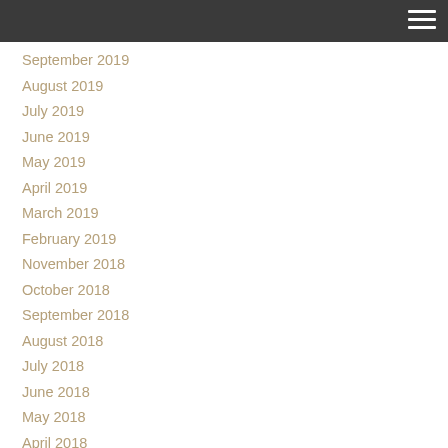November 2019
October 2019
September 2019
August 2019
July 2019
June 2019
May 2019
April 2019
March 2019
February 2019
November 2018
October 2018
September 2018
August 2018
July 2018
June 2018
May 2018
April 2018
March 2018